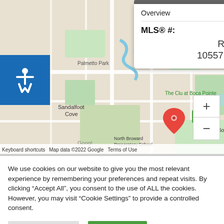[Figure (map): Google Maps screenshot showing Boca Pointe area with a red location pin. Visible labels include Sandalfoot Cove, The Club at Boca Pointe, Boca Pointe, North Broward Preparatory School, Palmetto Park. Map data ©2022 Google.]
Overview
MLS® #:
RX-1055712
Keyboard shortcuts   Map data ©2022 Google   Terms of Use
We use cookies on our website to give you the most relevant experience by remembering your preferences and repeat visits. By clicking "Accept All", you consent to the use of ALL the cookies. However, you may visit "Cookie Settings" to provide a controlled consent.
Cookie Settings
Accept All